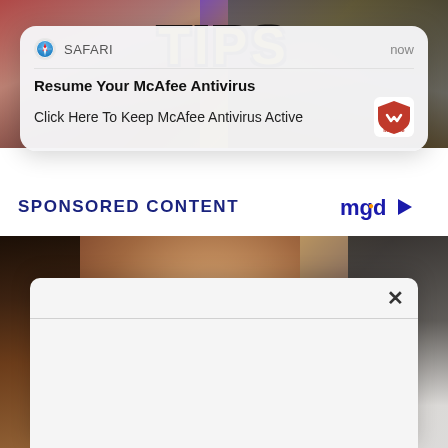[Figure (screenshot): Blurred background image showing yellow styled text and dark clothing in a closet/store setting]
[Figure (screenshot): Safari browser push notification popup reading: SAFARI | now | Resume Your McAfee Antivirus | Click Here To Keep McAfee Antivirus Active, with McAfee shield logo on right]
SPONSORED CONTENT
[Figure (screenshot): mgid logo with play button triangle icon]
[Figure (photo): Photo of woman with long brown hair standing in front of clothing rack]
[Figure (screenshot): White popup overlay with close X button and horizontal divider line]